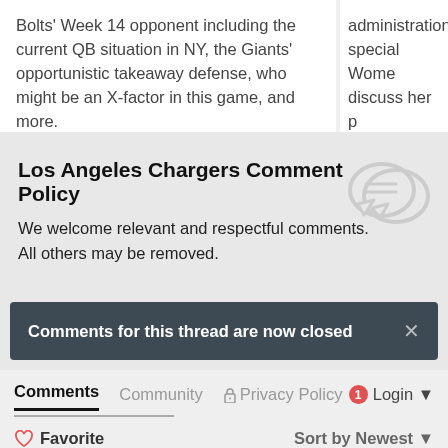Bolts' Week 14 opponent including the current QB situation in NY, the Giants' opportunistic takeaway defense, who might be an X-factor in this game, and more.
administration special Wome discuss her p operations fro
Los Angeles Chargers Comment Policy
We welcome relevant and respectful comments. All others may be removed.
Comments for this thread are now closed
Comments  Community  Privacy Policy  1  Login
Favorite  Sort by Newest